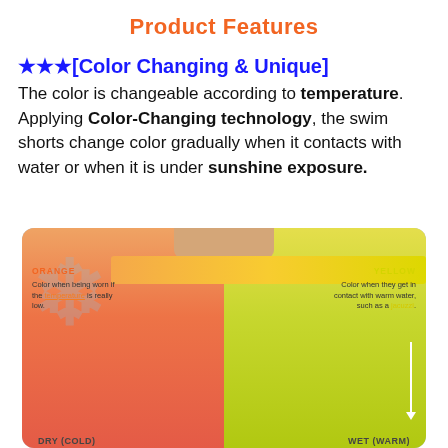Product Features
★★★[Color Changing & Unique]
The color is changeable according to temperature. Applying Color-Changing technology, the swim shorts change color gradually when it contacts with water or when it is under sunshine exposure.
[Figure (photo): Photo of color-changing swim shorts showing orange (dry/cold) on left half and yellow (wet/warm) on right half, with labels ORANGE, YELLOW, DRY (COLD), WET (WARM) and descriptions of the color-change technology.]